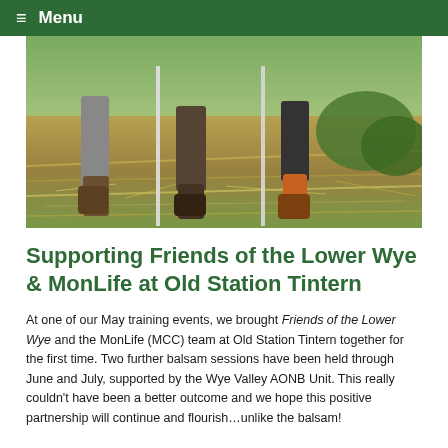≡ Menu
[Figure (photo): Outdoor photo showing people's lower bodies and feet standing in a field with cut vegetation, straw and plant debris on the ground, suggesting a balsam-pulling conservation session.]
Supporting Friends of the Lower Wye & MonLife at Old Station Tintern
At one of our May training events, we brought Friends of the Lower Wye and the MonLife (MCC) team at Old Station Tintern together for the first time. Two further balsam sessions have been held through June and July, supported by the Wye Valley AONB Unit. This really couldn't have been a better outcome and we hope this positive partnership will continue and flourish…unlike the balsam!